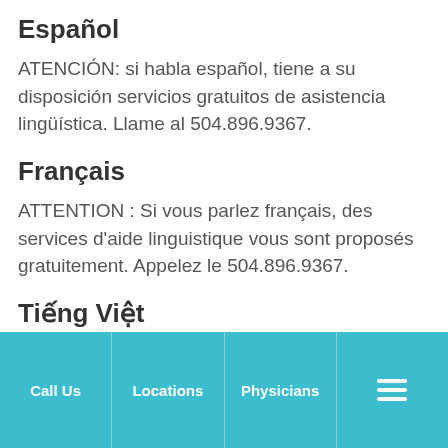Español
ATENCIÓN: si habla español, tiene a su disposición servicios gratuitos de asistencia lingüística. Llame al 504.896.9367.
Français
ATTENTION : Si vous parlez français, des services d'aide linguistique vous sont proposés gratuitement. Appelez le 504.896.9367.
Tiếng Việt
Call Us | Locations | Physicians | Menu